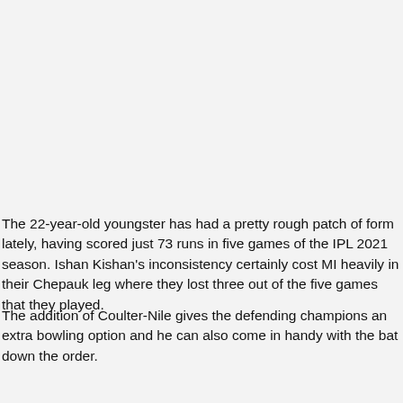The 22-year-old youngster has had a pretty rough patch of form lately, having scored just 73 runs in five games of the IPL 2021 season. Ishan Kishan's inconsistency certainly cost MI heavily in their Chepauk leg where they lost three out of the five games that they played.
The addition of Coulter-Nile gives the defending champions an extra bowling option and he can also come in handy with the bat down the order.